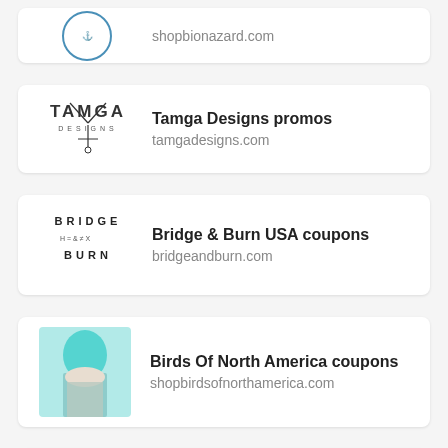[Figure (screenshot): Partial card at top showing shopbionazard.com with a circular logo]
shopbionazard.com
[Figure (logo): Tamga Designs logo - geometric text logo]
Tamga Designs promos
tamgadesigns.com
[Figure (logo): Bridge & Burn logo - stacked text logo]
Bridge & Burn USA coupons
bridgeandburn.com
[Figure (photo): Photo of a person with teal/blue hair]
Birds Of North America coupons
shopbirdsofnorthamerica.com
[Figure (photo): Photo of a person with long brown/auburn hair]
Debmon Design UK coupons